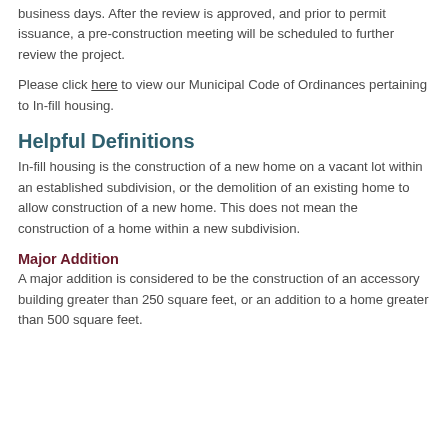business days. After the review is approved, and prior to permit issuance, a pre-construction meeting will be scheduled to further review the project.
Please click here to view our Municipal Code of Ordinances pertaining to In-fill housing.
Helpful Definitions
In-fill housing is the construction of a new home on a vacant lot within an established subdivision, or the demolition of an existing home to allow construction of a new home. This does not mean the construction of a home within a new subdivision.
Major Addition
A major addition is considered to be the construction of an accessory building greater than 250 square feet, or an addition to a home greater than 500 square feet.